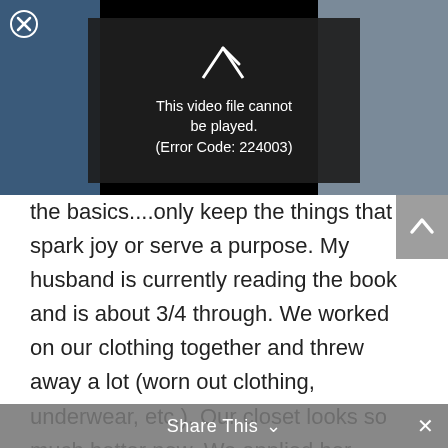[Figure (screenshot): Video player showing an error overlay: 'This video file cannot be played. (Error Code: 224003)' over a partial outdoor/ocean scene. A close (X) button is in the top-left corner.]
the basics....only keep the things that spark joy or serve a purpose. My husband is currently reading the book and is about 3/4 through. We worked on our clothing together and threw away a lot (worn out clothing, underwear, etc.). Our closet looks so much better now. We applied her organization/folding method for items such as t-shirts, underwear, socks, etc. Drawers that I struggled to close now shut with ease. I can now find
Share This